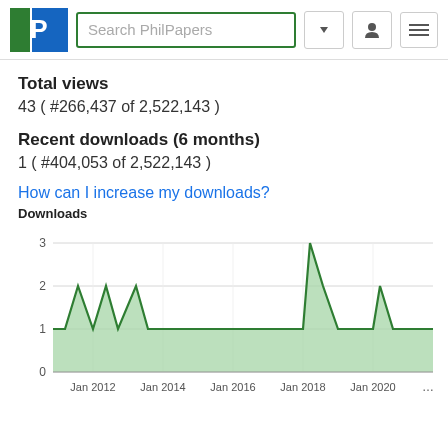[Figure (screenshot): PhilPapers website header with logo, search box, user icon, and menu icon]
Total views
43 ( #266,437 of 2,522,143 )
Recent downloads (6 months)
1 ( #404,053 of 2,522,143 )
How can I increase my downloads?
[Figure (area-chart): Downloads]